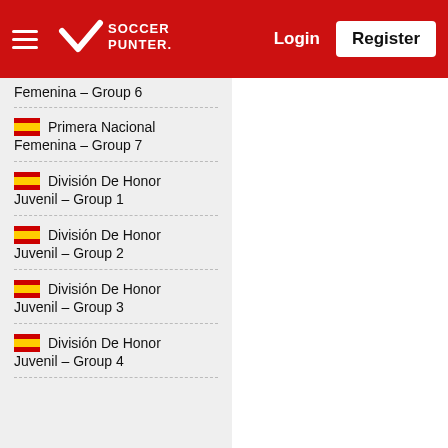Soccer Punter — Login | Register
🇪🇸 Primera Nacional Femenina - Group 6 (partial, top cut off)
🇪🇸 Primera Nacional Femenina - Group 7
🇪🇸 División De Honor Juvenil - Group 1
🇪🇸 División De Honor Juvenil - Group 2
🇪🇸 División De Honor Juvenil - Group 3
🇪🇸 División De Honor Juvenil - Group 4